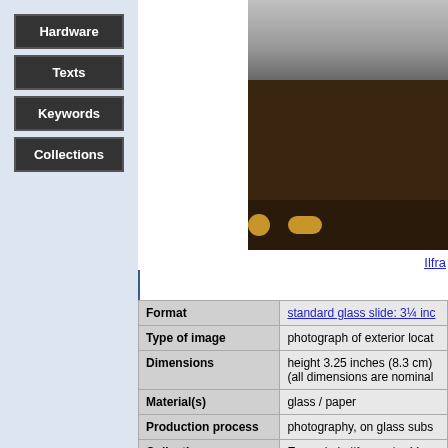Hardware
Texts
Keywords
Collections
[Figure (photo): Photograph of a glass slide showing an exterior location image mounted in a dark wooden/card frame with gold/brass circular fittings at the bottom. The image shows textured grey surface at the top.]
Ilfra...
| Field | Value |
| --- | --- |
| Format | standard glass slide: 3¼ inc... |
| Type of image | photograph of exterior locat... |
| Dimensions | height 3.25 inches (8.3 cm)
(all dimensions are nominal... |
| Material(s) | glass / paper |
| Production process | photography, on glass subs... |
| Collections | Example in Ilfracombe Mus... |
| Lucerna ID  5124112 | Record created by Richard... |